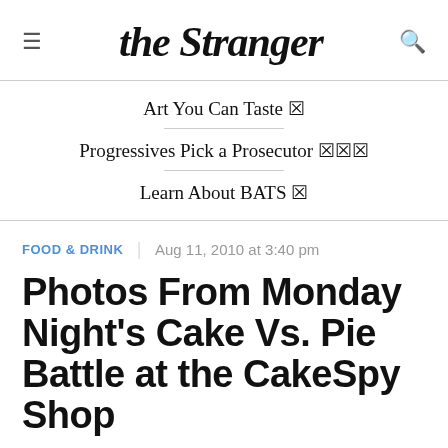the Stranger
Art You Can Taste 🔗
Progressives Pick a Prosecutor 🔗🔗🔗
Learn About BATS 🔗
FOOD & DRINK | Aug 11, 2010 at 3:40 pm
Photos From Monday Night's Cake Vs. Pie Battle at the CakeSpy Shop